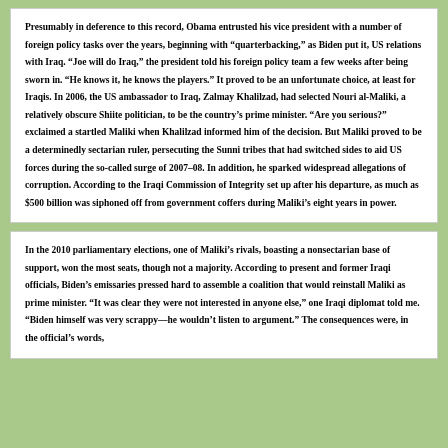Presumably in deference to this record, Obama entrusted his vice president with a number of foreign policy tasks over the years, beginning with "quarterbacking," as Biden put it, US relations with Iraq. "Joe will do Iraq," the president told his foreign policy team a few weeks after being sworn in. "He knows it, he knows the players." It proved to be an unfortunate choice, at least for Iraqis. In 2006, the US ambassador to Iraq, Zalmay Khalilzad, had selected Nouri al-Maliki, a relatively obscure Shiite politician, to be the country's prime minister. "Are you serious?" exclaimed a startled Maliki when Khalilzad informed him of the decision. But Maliki proved to be a determinedly sectarian ruler, persecuting the Sunni tribes that had switched sides to aid US forces during the so-called surge of 2007–08. In addition, he sparked widespread allegations of corruption. According to the Iraqi Commission of Integrity set up after his departure, as much as $500 billion was siphoned off from government coffers during Maliki's eight years in power.
In the 2010 parliamentary elections, one of Maliki's rivals, boasting a nonsectarian base of support, won the most seats, though not a majority. According to present and former Iraqi officials, Biden's emissaries pressed hard to assemble a coalition that would reinstall Maliki as prime minister. "It was clear they were not interested in anyone else," one Iraqi diplomat told me. "Biden himself was very scrappy—he wouldn't listen to argument." The consequences were, in the official's words,